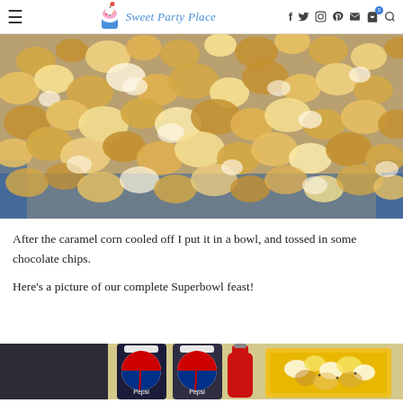Sweet Party Place — site navigation header with logo and social icons
[Figure (photo): Close-up photo of caramel popcorn in a blue bowl, golden-brown clusters filling the frame]
After the caramel corn cooled off I put it in a bowl, and tossed in some chocolate chips.
Here's a picture of our complete Superbowl feast!
[Figure (photo): Partial photo showing Pepsi bottles and food items on a table — Superbowl feast spread]